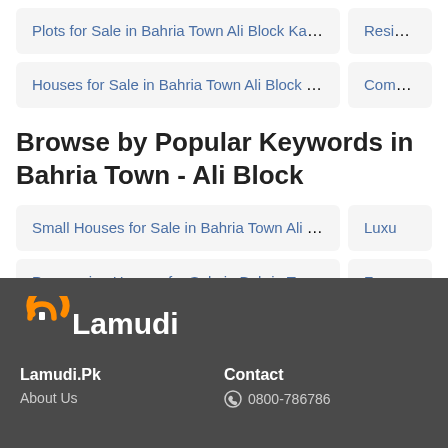Plots for Sale in Bahria Town Ali Block Karachi (335)
Residential F…
Houses for Sale in Bahria Town Ali Block Karachi (226)
Commercia…
Browse by Popular Keywords in Bahria Town - Ali Block
Small Houses for Sale in Bahria Town Ali Block Karachi (212)
Luxu…
Possession Houses for Sale in Bahria Town Ali Block Kara… (9)
Fu…
[Figure (logo): Lamudi logo with orange arc and white text]
Lamudi.Pk | Contact | About Us | 0800-786786